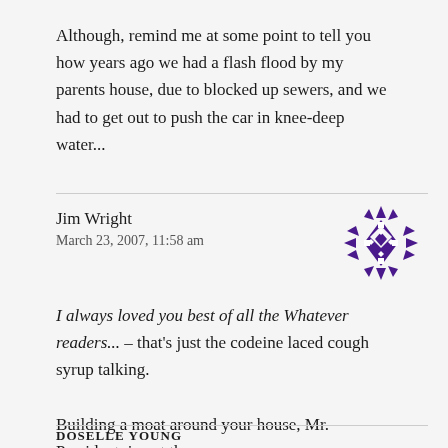Although, remind me at some point to tell you how years ago we had a flash flood by my parents house, due to blocked up sewers, and we had to get out to push the car in knee-deep water...
Jim Wright
March 23, 2007, 11:58 am
[Figure (illustration): Purple geometric/snowflake avatar icon for Jim Wright]
I always loved you best of all the Whatever readers... – that's just the codeine laced cough syrup talking.

Building a moat around your house, Mr. President, is not the answer.
DOSELLE YOUNG